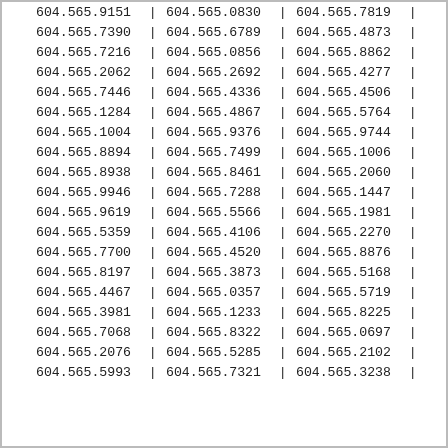| 604.565.9151 | | | 604.565.0830 | | | 604.565.7819 | | |
| 604.565.7390 | | | 604.565.6789 | | | 604.565.4873 | | |
| 604.565.7216 | | | 604.565.0856 | | | 604.565.8862 | | |
| 604.565.2062 | | | 604.565.2692 | | | 604.565.4277 | | |
| 604.565.7446 | | | 604.565.4336 | | | 604.565.4506 | | |
| 604.565.1284 | | | 604.565.4867 | | | 604.565.5764 | | |
| 604.565.1004 | | | 604.565.9376 | | | 604.565.9744 | | |
| 604.565.8894 | | | 604.565.7499 | | | 604.565.1006 | | |
| 604.565.8938 | | | 604.565.8461 | | | 604.565.2060 | | |
| 604.565.9946 | | | 604.565.7288 | | | 604.565.1447 | | |
| 604.565.9619 | | | 604.565.5566 | | | 604.565.1981 | | |
| 604.565.5359 | | | 604.565.4106 | | | 604.565.2270 | | |
| 604.565.7700 | | | 604.565.4520 | | | 604.565.8876 | | |
| 604.565.8197 | | | 604.565.3873 | | | 604.565.5168 | | |
| 604.565.4467 | | | 604.565.0357 | | | 604.565.5719 | | |
| 604.565.3981 | | | 604.565.1233 | | | 604.565.8225 | | |
| 604.565.7068 | | | 604.565.8322 | | | 604.565.0697 | | |
| 604.565.2076 | | | 604.565.5285 | | | 604.565.2102 | | |
| 604.565.5993 | | | 604.565.7321 | | | 604.565.3238 | | |